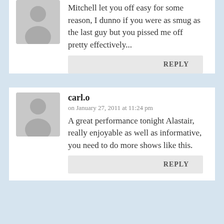Mitchell let you off easy for some reason, I dunno if you were as smug as the last guy but you pissed me off pretty effectively...
REPLY
carl.o on January 27, 2011 at 11:24 pm
A great performance tonight Alastair, really enjoyable as well as informative, you need to do more shows like this.
REPLY